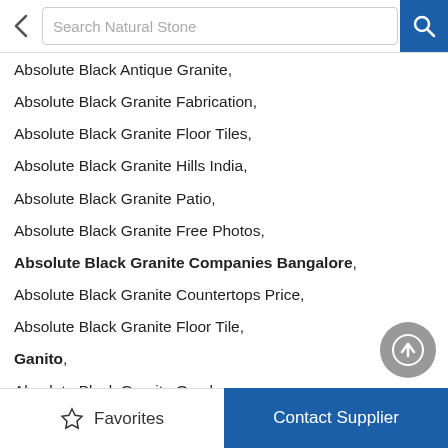Search Natural Stone
Absolute Black Antique Granite,
Absolute Black Granite Fabrication,
Absolute Black Granite Floor Tiles,
Absolute Black Granite Hills India,
Absolute Black Granite Patio,
Absolute Black Granite Free Photos,
Absolute Black Granite Companies Bangalore,
Absolute Black Granite Countertops Price,
Absolute Black Granite Floor Tile,
Ganito,
Absolute Black Granite Overlay,
Absolute Black Granite Paving,
Absolute Black Granite Remnants,
Black Granitas,
Absolute Black Granite Supplier,
India Granite,
Absolute Black Discount Granite Tile
Favorites | Contact Supplier